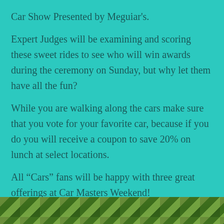Car Show Presented by Meguiar's.
Expert Judges will be examining and scoring these sweet rides to see who will win awards during the ceremony on Sunday, but why let them have all the fun?
While you are walking along the cars make sure that you vote for your favorite car, because if you do you will receive a coupon to save 20% on lunch at select locations.
All “Cars” fans will be happy with three great offerings at Car Masters Weekend!
[Figure (photo): Photo strip at the bottom of the page showing outdoor scene with greenery]